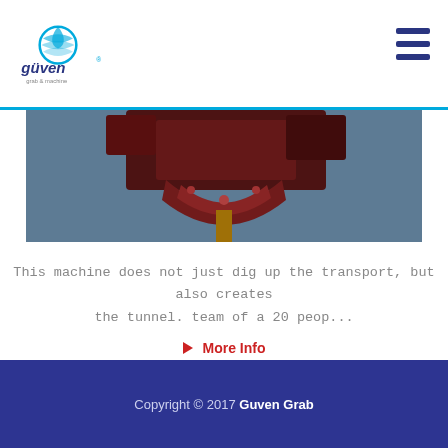Guven Grab & Machine logo and navigation
[Figure (photo): Upward-angle photo of a red industrial grab machine against a blue sky background]
This machine does not just dig up the transport, but also creates the tunnel. team of a 20 peop...
More Info
Copyright © 2017 Guven Grab